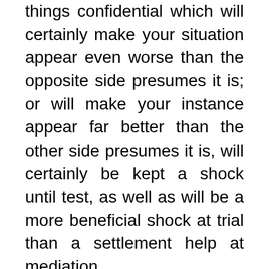things confidential which will certainly make your situation appear even worse than the opposite side presumes it is; or will make your instance appear far better than the other side presumes it is, will certainly be kept a shock until test, as well as will be a more beneficial shock at trial than a settlement help at mediation.
Shock is rarely a benefit at mediation, particularly in complex mediations: Unlike surprise at trial, shock at mediation generally leaves the other side sensation questionable, betrayed, worried concerning what other details is being kept, as well as concerned about